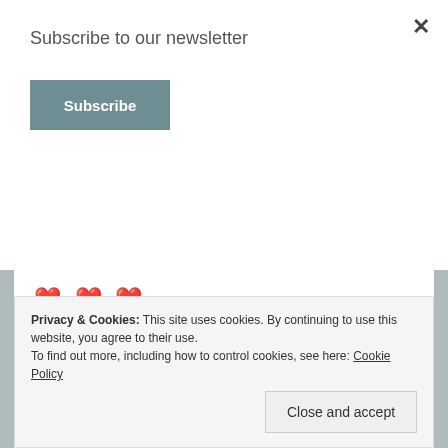Subscribe to our newsletter
Subscribe
[Figure (illustration): Three red heart emoji symbols]
Blessings,
Kelly
Kelly J. Goshorn
Privacy & Cookies: This site uses cookies. By continuing to use this website, you agree to their use. To find out more, including how to control cookies, see here: Cookie Policy
Close and accept